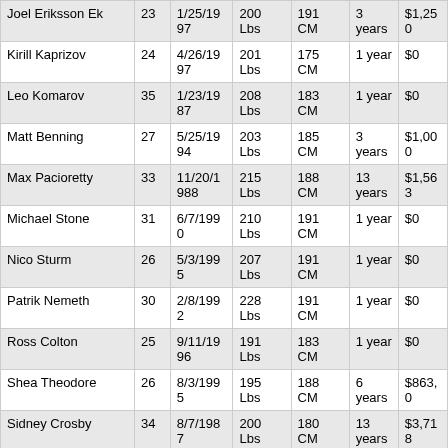| Name | Age | DOB | Weight | Height | Contract Length | Salary |
| --- | --- | --- | --- | --- | --- | --- |
| Joel Eriksson Ek | 23 | 1/25/1997 | 200 Lbs | 191 CM | 3 years | $1,250 |
| Kirill Kaprizov | 24 | 4/26/1997 | 201 Lbs | 175 CM | 1 year | $0 |
| Leo Komarov | 35 | 1/23/1987 | 208 Lbs | 183 CM | 1 year | $0 |
| Matt Benning | 27 | 5/25/1994 | 203 Lbs | 185 CM | 3 years | $1,000 |
| Max Pacioretty | 33 | 11/20/1988 | 215 Lbs | 188 CM | 13 years | $1,563 |
| Michael Stone | 31 | 6/7/1990 | 210 Lbs | 191 CM | 1 year | $0 |
| Nico Sturm | 26 | 5/3/1995 | 207 Lbs | 191 CM | 1 year | $0 |
| Patrik Nemeth | 30 | 2/8/1992 | 228 Lbs | 191 CM | 1 year | $0 |
| Ross Colton | 25 | 9/11/1996 | 191 Lbs | 183 CM | 1 year | $0 |
| Shea Theodore | 26 | 8/3/1995 | 195 Lbs | 188 CM | 6 years | $863,0 |
| Sidney Crosby | 34 | 8/7/1987 | 200 Lbs | 180 CM | 13 years | $3,718 |